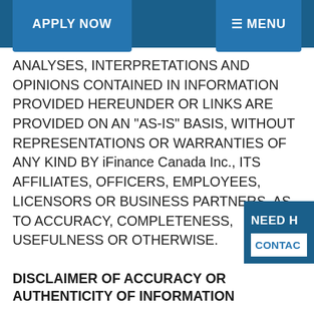APPLY NOW  ≡ MENU
ANALYSES, INTERPRETATIONS AND OPINIONS CONTAINED IN INFORMATION PROVIDED HEREUNDER OR LINKS ARE PROVIDED ON AN "AS-IS" BASIS, WITHOUT REPRESENTATIONS OR WARRANTIES OF ANY KIND BY iFinance Canada Inc., ITS AFFILIATES, OFFICERS, EMPLOYEES, LICENSORS OR BUSINESS PARTNERS, AS TO ACCURACY, COMPLETENESS, USEFULNESS OR OTHERWISE.
DISCLAIMER OF ACCURACY OR AUTHENTICITY OF INFORMATION
Information on this website is believed to be re…